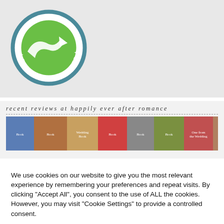[Figure (logo): NetGalley Member Professional Reader circular badge with green arrow logo and teal border]
recent reviews at happily ever after romance
[Figure (illustration): A horizontal strip of romance novel book covers]
We use cookies on our website to give you the most relevant experience by remembering your preferences and repeat visits. By clicking "Accept All", you consent to the use of ALL the cookies. However, you may visit "Cookie Settings" to provide a controlled consent.
Cookie Settings
Accept All